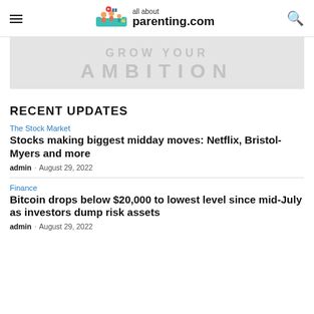all about parenting.com
[Figure (illustration): Banner image with watermark text reading 'AMBITION' in large light gray letters on a gray background]
RECENT UPDATES
The Stock Market
Stocks making biggest midday moves: Netflix, Bristol-Myers and more
admin · August 29, 2022
Finance
Bitcoin drops below $20,000 to lowest level since mid-July as investors dump risk assets
admin · August 29, 2022